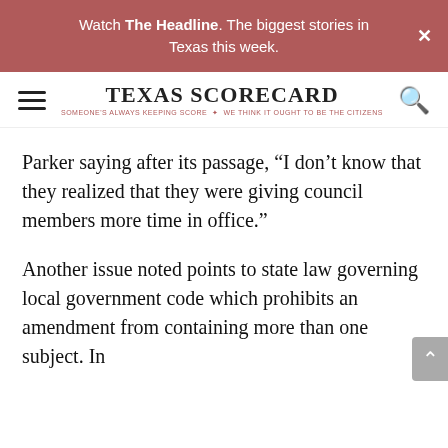Watch The Headline. The biggest stories in Texas this week.
[Figure (logo): Texas Scorecard logo with hamburger menu and search icon]
Parker saying after its passage, “I don’t know that they realized that they were giving council members more time in office.”
Another issue noted points to state law governing local government code which prohibits an amendment from containing more than one subject. In